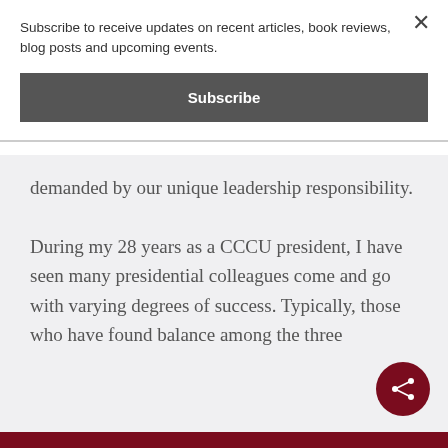Subscribe to receive updates on recent articles, book reviews, blog posts and upcoming events.
Subscribe
demanded by our unique leadership responsibility.
During my 28 years as a CCCU president, I have seen many presidential colleagues come and go with varying degrees of success. Typically, those who have found balance among the three